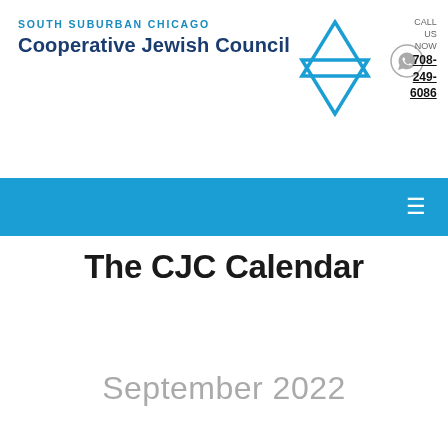[Figure (logo): South Suburban Chicago Cooperative Jewish Council logo with blue Star of David outline, organization name in blue text, WhatsApp icon, and phone number 708-249-6086]
[Figure (other): Blue navigation bar with hamburger menu icon on the right]
The CJC Calendar
September 2022